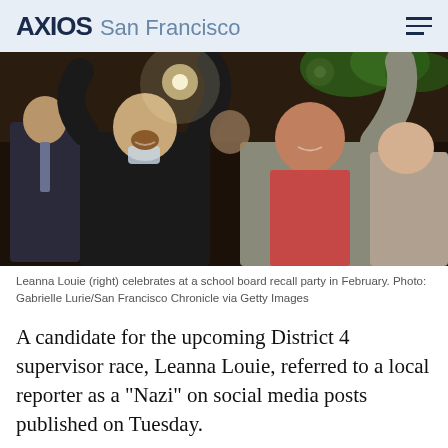AXIOS San Francisco
[Figure (photo): People celebrating at a school board recall party. Leanna Louie (right) raises her arms and laughs with others around her in an indoor venue with hanging plants.]
Leanna Louie (right) celebrates at a school board recall party in February. Photo: Gabrielle Lurie/San Francisco Chronicle via Getty Images
A candidate for the upcoming District 4 supervisor race, Leanna Louie, referred to a local reporter as a "Nazi" on social media posts published on Tuesday.
What the s...